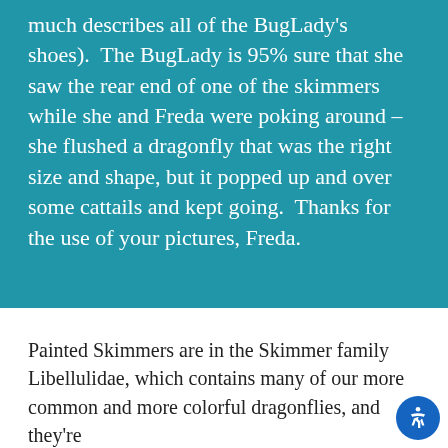much describes all of the BugLady's shoes).  The BugLady is 95% sure that she saw the rear end of one of the skimmers while she and Freda were poking around – she flushed a dragonfly that was the right size and shape, but it popped up and over some cattails and kept going.  Thanks for the use of your pictures, Freda.
Painted Skimmers are in the Skimmer family Libellulidae, which contains many of our more common and more colorful dragonflies, and they're